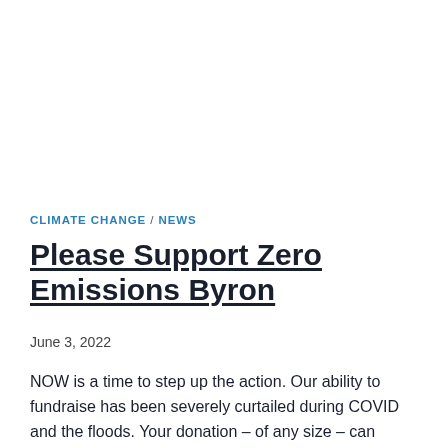CLIMATE CHANGE / NEWS
Please Support Zero Emissions Byron
June 3, 2022
NOW is a time to step up the action. Our ability to fundraise has been severely curtailed during COVID and the floods. Your donation – of any size – can support us in the next few months to: Stage a huge Electric Vehicle